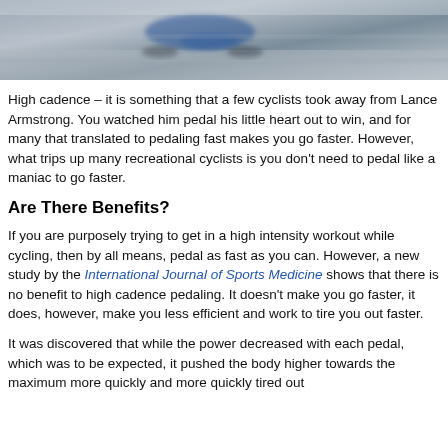[Figure (photo): Blurred action photo of a cyclist in motion, shot from above or side angle, showing wheels and road surface with motion blur effect in blue and grey tones.]
High cadence – it is something that a few cyclists took away from Lance Armstrong. You watched him pedal his little heart out to win, and for many that translated to pedaling fast makes you go faster. However, what trips up many recreational cyclists is you don't need to pedal like a maniac to go faster.
Are There Benefits?
If you are purposely trying to get in a high intensity workout while cycling, then by all means, pedal as fast as you can. However, a new study by the International Journal of Sports Medicine shows that there is no benefit to high cadence pedaling. It doesn't make you go faster, it does, however, make you less efficient and work to tire you out faster.
It was discovered that while the power decreased with each pedal, which was to be expected, it pushed the body higher towards the maximum more quickly and more quickly tired out